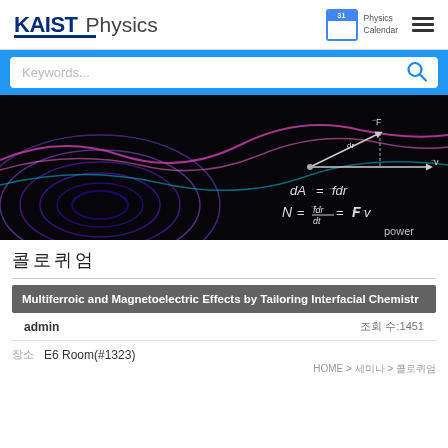KAIST Physics | Physics Calendar | menu
[Figure (screenshot): Search bar with Keywords... placeholder and blue search icon on blue background]
[Figure (photo): Hero banner with dark physics background showing swirling light patterns and physics equations: dA = f dr, N = f dr/dt = F v, with 'power' label]
콜로퀴엄
HOME > 세미나 > 콜로퀴엄
Multiferroic and Magnetoelectric Effects by Tailoring Interfacial Chemistry
admin                                             조회 수:1451
장소    E6 Room(#1323)